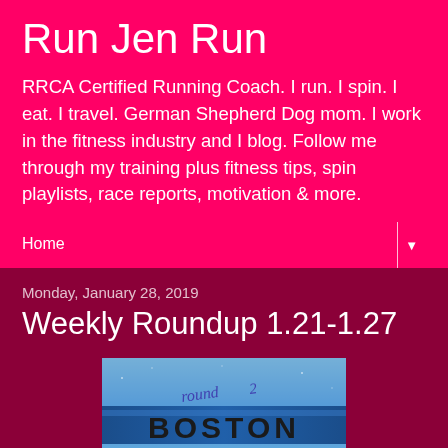Run Jen Run
RRCA Certified Running Coach. I run. I spin. I eat. I travel. German Shepherd Dog mom. I work in the fitness industry and I blog. Follow me through my training plus fitness tips, spin playlists, race reports, motivation & more.
Home
Monday, January 28, 2019
Weekly Roundup 1.21-1.27
[Figure (photo): Boston Marathon Training promotional image with 'round 2 BOSTON MARATHON TRAINING' text on a blue glittery background]